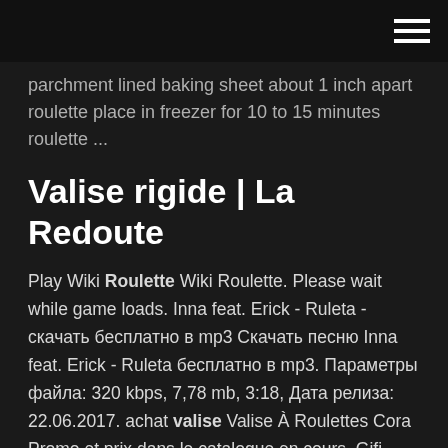parchment lined baking sheet about 1 inch apart roulette place in freezer for 10 to 15 minutes roulette ...
Valise rigide | La Redoute
Play Wiki Roulette Wiki Roulette. Please wait while game loads. Inna feat. Erick - Ruleta - скачать бесплатно в mp3 Скачать песню Inna feat. Erick - Ruleta бесплатно в mp3. Параметры файла: 320 kbps, 7,78 mb, 3:18, Дата релиза: 22.06.2017. achat valise Valise À Roulettes Cora Promo et prix dans le catalogue en cours. Gifi Valise À Roulettes. Bazarland Valise À Roulettes. Casa Valise À Roulettes.